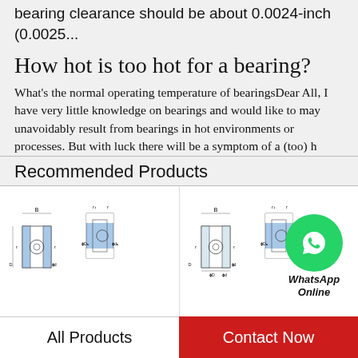bearing clearance should be about 0.0024-inch (0.0025...
How hot is too hot for a bearing?
What's the normal operating temperature of bearingsDear All, I have very little knowledge on bearings and would like to may unavoidably result from bearings in hot environments or processes. But with luck there will be a symptom of a (too) h...
[Figure (illustration): WhatsApp Online chat bubble icon with green circle and phone logo, labeled WhatsApp Online]
Recommended Products
[Figure (engineering-diagram): Four bearing cross-section schematics showing dimensional labels B, D, d, r, F]
All Products
Contact Now